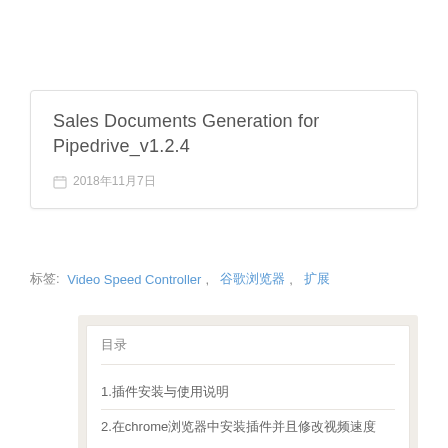Sales Documents Generation for Pipedrive_v1.2.4
2018年11月7日
标签: Video Speed Controller,  谷歌浏览器,  扩展
目录
1.插件安装与使用说明
2.在chrome浏览器中安装插件并且修改视频速度